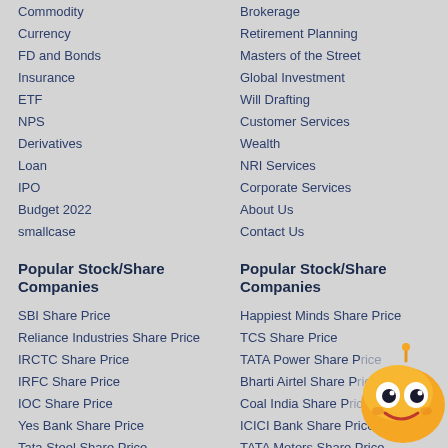Commodity
Currency
FD and Bonds
Insurance
ETF
NPS
Derivatives
Loan
IPO
Budget 2022
smallcase
Popular Stock/Share Companies
SBI Share Price
Reliance Industries Share Price
IRCTC Share Price
IRFC Share Price
IOC Share Price
Yes Bank Share Price
Tata Steel Share Price
Brokerage
Retirement Planning
Masters of the Street
Global Investment
Will Drafting
Customer Services
Wealth
NRI Services
Corporate Services
About Us
Contact Us
Popular Stock/Share Companies
Happiest Minds Share Price
TCS Share Price
TATA Power Share Price
Bharti Airtel Share Price
Coal India Share Price
ICICI Bank Share Price
TATA Motors Share Price
[Figure (illustration): Orange robot/mascot character with large eyes, antenna, smiling face, positioned at bottom right corner]